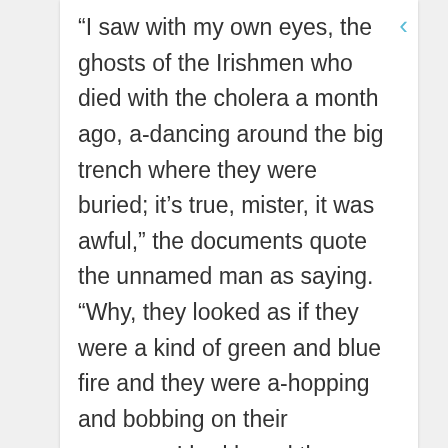“I saw with my own eyes, the ghosts of the Irishmen who died with the cholera a month ago, a-dancing around the big trench where they were buried; it’s true, mister, it was awful,” the documents quote the unnamed man as saying. “Why, they looked as if they were a kind of green and blue fire and they were a-hopping and bobbing on their graves… I had heard the Irishmen were haunting the place because they were buried without the benefit